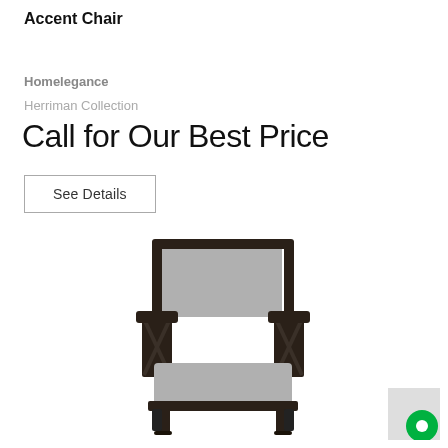Accent Chair
Homelegance
Herriman Collection
Call for Our Best Price
See Details
[Figure (photo): Gray upholstered accent chair with dark espresso wood frame featuring X-pattern side panels, shown from a front-angle view.]